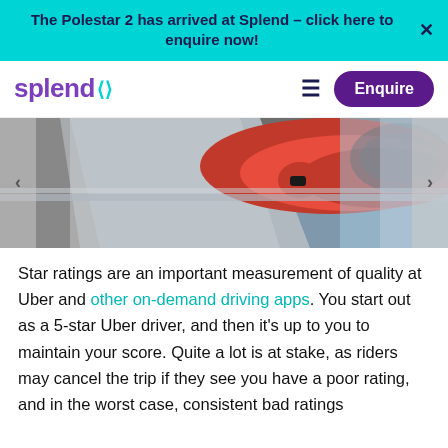The Polestar 2 has arrived at Splend – click here to enquire now!
[Figure (logo): Splend logo with teal double arrow icon]
[Figure (photo): Person in red leather jacket driving a car, view from outside through car window]
Star ratings are an important measurement of quality at Uber and other on-demand driving apps. You start out as a 5-star Uber driver, and then it's up to you to maintain your score. Quite a lot is at stake, as riders may cancel the trip if they see you have a poor rating, and in the worst case, consistent bad ratings